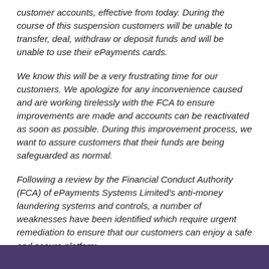customer accounts, effective from today. During the course of this suspension customers will be unable to transfer, deal, withdraw or deposit funds and will be unable to use their ePayments cards.
We know this will be a very frustrating time for our customers. We apologize for any inconvenience caused and are working tirelessly with the FCA to ensure improvements are made and accounts can be reactivated as soon as possible. During this improvement process, we want to assure customers that their funds are being safeguarded as normal.
Following a review by the Financial Conduct Authority (FCA) of ePayments Systems Limited's anti-money laundering systems and controls, a number of weaknesses have been identified which require urgent remediation to ensure that our customers can enjoy a safe and secure platform.